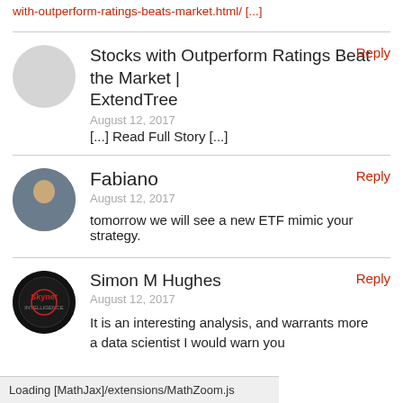with-outperform-ratings-beats-market.html/ [...]
Stocks with Outperform Ratings Beat the Market | ExtendTree
August 12, 2017
[...] Read Full Story [...]
Reply
Fabiano
August 12, 2017
tomorrow we will see a new ETF mimic your strategy.
Reply
Simon M Hughes
August 12, 2017
It is an interesting analysis, and warrants more
Reply
Loading [MathJax]/extensions/MathZoom.js